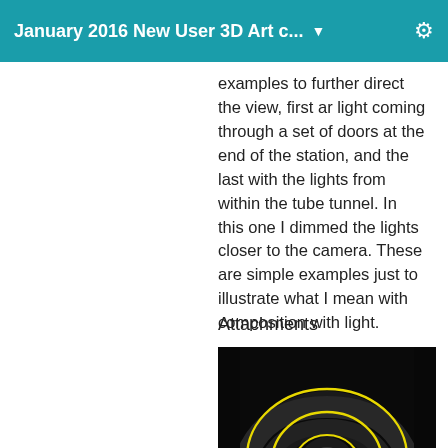January 2016 New User 3D Art c... ▼
examples to further direct the view, first ar light coming through a set of doors at the end of the station, and the last with the lights from within the tube tunnel. In this one I dimmed the lights closer to the camera. These are simple examples just to illustrate what I mean with composition with light.
Attachments
[Figure (photo): Dark tunnel image with yellow oval/arc outlines drawn over it, showing a white bright light at the center end of the tunnel. The image illustrates composition with light in a 3D rendered tunnel scene.]